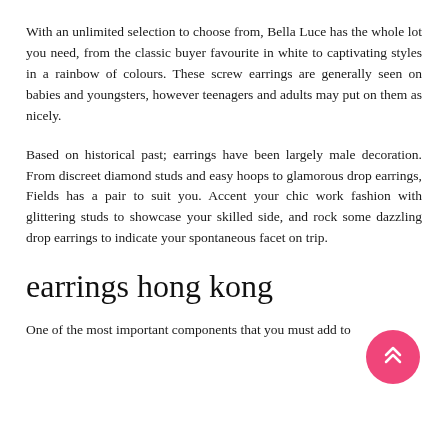With an unlimited selection to choose from, Bella Luce has the whole lot you need, from the classic buyer favourite in white to captivating styles in a rainbow of colours. These screw earrings are generally seen on babies and youngsters, however teenagers and adults may put on them as nicely.
Based on historical past; earrings have been largely male decoration. From discreet diamond studs and easy hoops to glamorous drop earrings, Fields has a pair to suit you. Accent your chic work fashion with glittering studs to showcase your skilled side, and rock some dazzling drop earrings to indicate your spontaneous facet on trip.
earrings hong kong
One of the most important components that you must add to
[Figure (other): Pink circular FAB button with double upward chevron arrows]